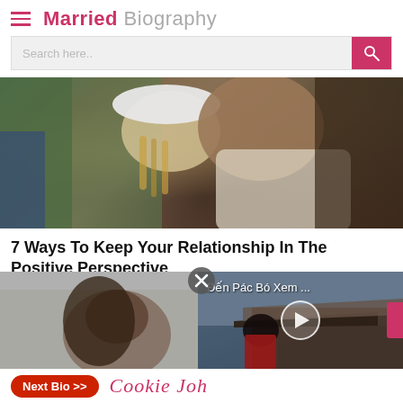Married Biography
Search here..
[Figure (photo): Two people kissing closely on what appears to be a train or bus, one wearing a white hat]
7 Ways To Keep Your Relationship In The Positive Perspective
BRAINBERRIES
[Figure (photo): Split screen: left shows a blurred person, right shows a video overlay with text 'Đến Pác Bó Xem ...' and a play button, featuring a person at a building]
Đến Pác Bó Xem ...
Next Bio >> Cookie Joh